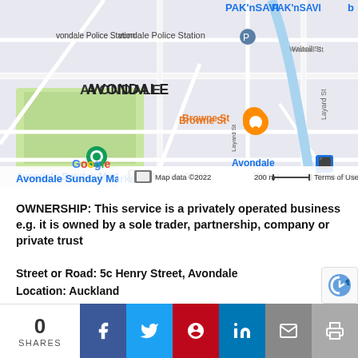[Figure (map): Google Maps screenshot showing Avondale area in Auckland, New Zealand. Shows Avondale Police Station, PAK'nSAVI, Browne St, Avondale Sunday Market, Avondale train station, Google logo, map data ©2022, 200m scale, Terms of Use. Zoom controls (+/-) and street view person icon visible.]
OWNERSHIP: This service is a privately operated business e.g. it is owned by a sole trader, partnership, company or private trust
Street or Road: 5c Henry Street, Avondale
Location: Auckland
Phone: contact number is not available for new enrolments
AGE RANGE: Licensed to care for children fro
0 SHARES | Facebook | Twitter | Pinterest | LinkedIn | Email | Print